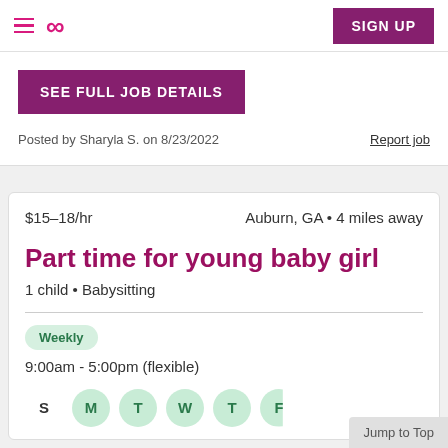Sittercity navigation bar with hamburger menu, infinity logo, and SIGN UP button
SEE FULL JOB DETAILS
Posted by Sharyla S. on 8/23/2022
Report job
$15–18/hr    Auburn, GA • 4 miles away
Part time for young baby girl
1 child • Babysitting
Weekly
9:00am - 5:00pm (flexible)
S M T W T
Jump to Top